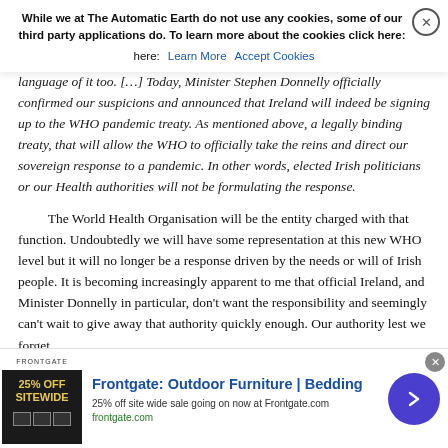While we at The Automatic Earth do not use any cookies, some of our third party applications do. To learn more about the cookies click here: [Learn More] [Accept Cookies]
confirmed our suspicions and announced that Ireland will indeed be signing up to the WHO pandemic treaty. As mentioned above, a legally binding treaty, that will allow the WHO to officially take the reins and direct our sovereign response to a pandemic. In other words, elected Irish politicians or our Health authorities will not be formulating the response.
The World Health Organisation will be the entity charged with that function. Undoubtedly we will have some representation at this new WHO level but it will no longer be a response driven by the needs or will of Irish people. It is becoming increasingly apparent to me that official Ireland, and Minister Donnelly in particular, don't want the responsibility and seemingly can't wait to give away that authority quickly enough. Our authority lest we forget.
[Figure (other): Advertisement banner for Frontgate: Outdoor Furniture | Bedding. Shows '25% off site wide sale going on now at Frontgate.com' and 'frontgate.com'. Contains a product image on the left and a purple circular arrow button on the right.]